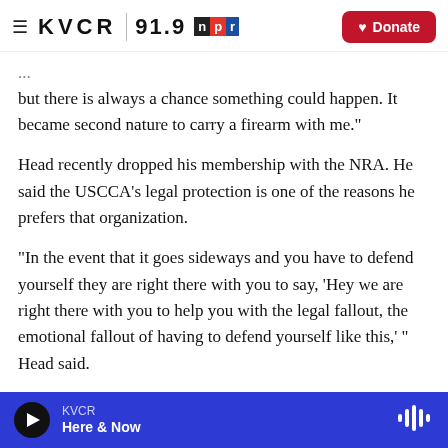KVCR 91.9 NPR | Donate
but there is always a chance something could happen. It became second nature to carry a firearm with me."
Head recently dropped his membership with the NRA. He said the USCCA's legal protection is one of the reasons he prefers that organization.
"In the event that it goes sideways and you have to defend yourself they are right there with you to say, 'Hey we are right there with you to help you with the legal fallout, the emotional fallout of having to defend yourself like this,' " Head said.
KVCR | Here & Now